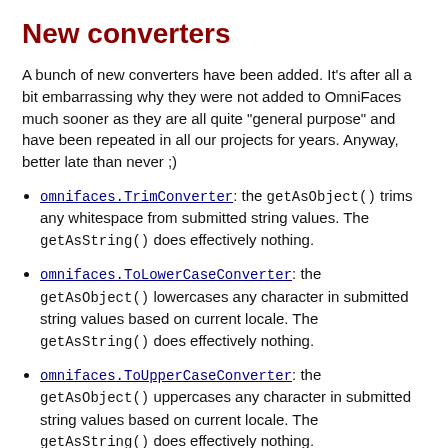New converters
A bunch of new converters have been added. It's after all a bit embarrassing why they were not added to OmniFaces much sooner as they are all quite "general purpose" and have been repeated in all our projects for years. Anyway, better late than never ;)
omnifaces.TrimConverter: the getAsObject() trims any whitespace from submitted string values. The getAsString() does effectively nothing.
omnifaces.ToLowerCaseConverter: the getAsObject() lowercases any character in submitted string values based on current locale. The getAsString() does effectively nothing.
omnifaces.ToUpperCaseConverter: the getAsObject() uppercases any character in submitted string values based on current locale. The getAsString() does effectively nothing.
omnifaces.ToCollectionConverter: the getAsObject() converts any commaseparated string...